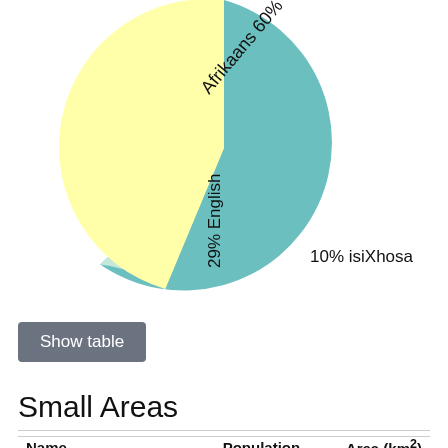[Figure (pie-chart): Language pie chart]
Show table
Small Areas
| Name | Population | Area (km²) |
| --- | --- | --- |
| Small Area 0037 | 52 | 23.82 |